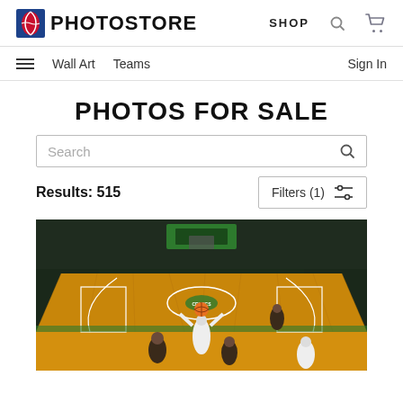NBA PHOTOSTORE | SHOP
Wall Art  Teams  Sign In
PHOTOS FOR SALE
Search
Results: 515
Filters (1)
[Figure (photo): NBA basketball game photo showing players on a Celtics home court at TD Garden, viewed from above center court, with a packed crowd in the background. Players in Cavaliers dark jerseys and Celtics white jerseys visible. One player is jumping to tip off or shoot near the center circle.]